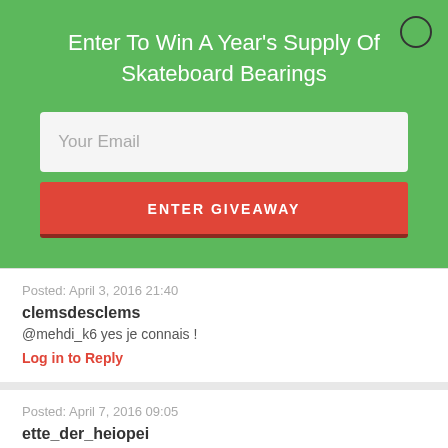Enter To Win A Year's Supply Of Skateboard Bearings
[Figure (screenshot): Email input field with placeholder text 'Your Email']
ENTER GIVEAWAY
Posted: April 3, 2016 21:40
clemsdesclems
@mehdi_k6 yes je connais !
Log in to Reply
Posted: April 7, 2016 09:05
ette_der_heiopei
@58leunam
Log in to Reply